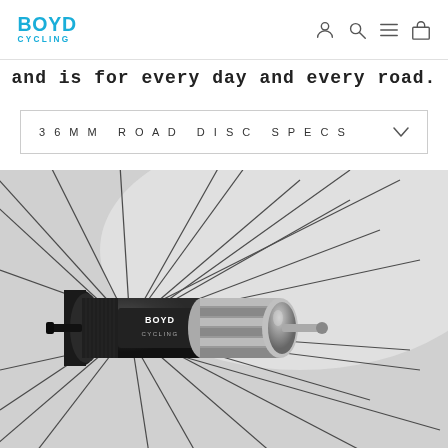[Figure (logo): Boyd Cycling logo in blue]
and is for every day and every road.
36MM ROAD DISC SPECS
[Figure (photo): Close-up black and white photo of a Boyd Cycling bicycle wheel hub with spokes radiating outward, showing the Boyd Cycling branded hub and quick release mechanism]